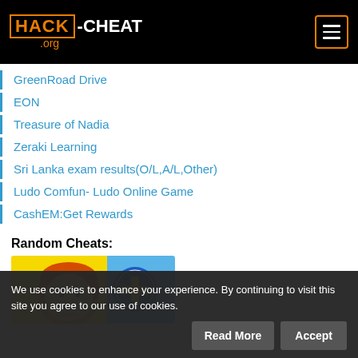HACK-CHEAT .org
GreenRoad Drive
EON
Treasure of Nadia
Zeraki Learning
Sri Lanka exam results(O/L,A/L,Other)
Ludo Comfun- Ludo Online Game
CashEM:Get Rewards
Random Cheats:
[Figure (illustration): Cartoon boy character with red/orange hair on a yellow and blue background, with a blue circle with a yellow plus sign, watermarked with hack-cheat.org]
We use cookies to enhance your experience. By continuing to visit this site you agree to our use of cookies.
Read More  Accept